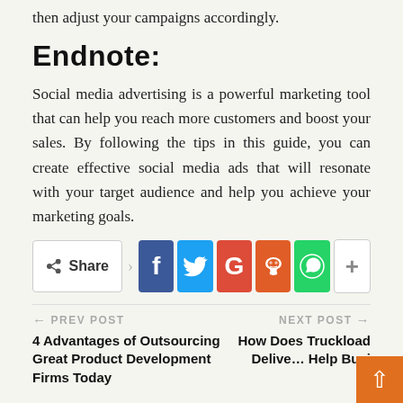then adjust your campaigns accordingly.
Endnote:
Social media advertising is a powerful marketing tool that can help you reach more customers and boost your sales. By following the tips in this guide, you can create effective social media ads that will resonate with your target audience and help you achieve your marketing goals.
[Figure (infographic): Social media share bar with Share button and icons for Facebook, Twitter, Google+, Reddit, WhatsApp, and a plus/more button]
← PREV POST
4 Advantages of Outsourcing Great Product Development Firms Today
NEXT POST →
How Does Truckload Delivery Help Busi…